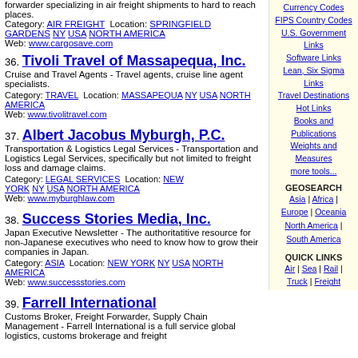forwarder specializing in air freight shipments to hard to reach places.
Category: AIR FREIGHT  Location: SPRINGFIELD GARDENS  NY  USA  NORTH AMERICA
Web: www.cargosave.com
36. Tivoli Travel of Massapequa, Inc.
Cruise and Travel Agents - Travel agents, cruise line agent specialists.
Category: TRAVEL  Location: MASSAPEQUA  NY  USA  NORTH AMERICA
Web: www.tivolitravel.com
37. Albert Jacobus Myburgh, P.C.
Transportation & Logistics Legal Services - Transportation and Logistics Legal Services, specifically but not limited to freight loss and damage claims.
Category: LEGAL SERVICES  Location: NEW YORK  NY  USA  NORTH AMERICA
Web: www.myburghlaw.com
38. Success Stories Media, Inc.
Japan Executive Newsletter - The authoritatitive resource for non-Japanese executives who need to know how to grow their companies in Japan.
Category: ASIA  Location: NEW YORK  NY  USA  NORTH AMERICA
Web: www.successstories.com
39. Farrell International
Customs Broker, Freight Forwarder, Supply Chain Management - Farrell International is a full service global logistics, customs brokerage and freight
Currency Codes
FIPS Country Codes
U.S. Government Links
Software Links
Lean, Six Sigma Links
Travel Destinations
Hot Links
Books and Publications
Weights and Measures
more tools...
GEOSEARCH
Asia | Africa | Europe | Oceania North America | South America
QUICK LINKS
Air | Sea | Rail | Truck | Freight